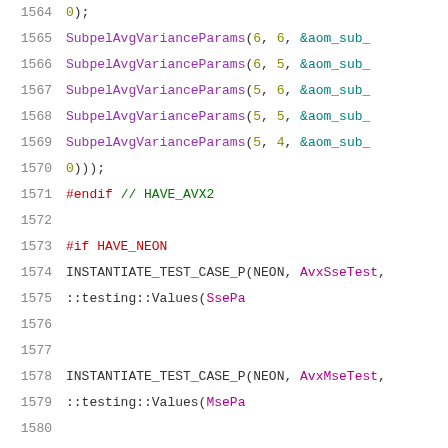Source code listing showing C++ test case instantiations for AVX2 and NEON SIMD variants, lines 1564-1585